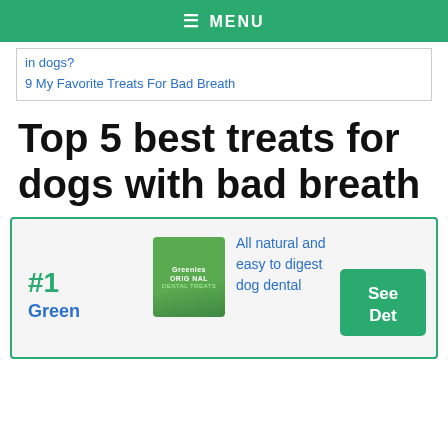☰ MENU
in dogs?
9 My Favorite Treats For Bad Breath
Top 5 best treats for dogs with bad breath
#1 Green...
All natural and easy to digest dog dental...
See Det